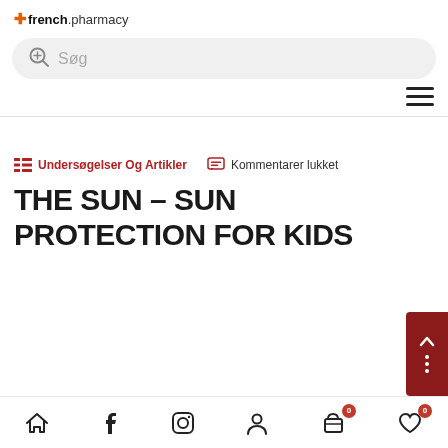+french.pharmacy
[Figure (screenshot): Search bar with magnifying glass icon and placeholder text 'Søg' on light grey rounded background]
[Figure (other): Hamburger menu icon (three horizontal lines)]
Undersøgelser Og Artikler   Kommentarer lukket
THE SUN – SUN PROTECTION FOR KIDS
[Figure (other): Scroll to top button (dark red) with up arrow and three dots]
Home | Facebook | Instagram | Account | Cart 0 | Wishlist 0